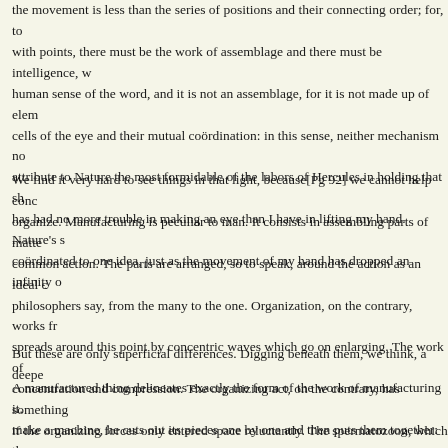the movement is less than the series of positions and their connecting order; for, to with points, there must be the work of assemblage and there must be intelligence, w human sense of the word, and it is not an assemblage, for it is not made up of elem cells of the eye and their mutual coördination: in this sense, neither mechanism no attribute to Nature the most formidable of the labors of Hercules in holding that sh has had no more trouble in making an eye than I have in lifting my hand. Nature's s coördinated to one idea, just as the movement of my hand has dropped an infinity o
We find it very hard to see things in that light, because[Pg 92] we cannot help conc organize. Manufacturing is peculiar to man. It consists in assembling parts of matte common action. The parts are arranged, so to speak, around the action as an ideal c philosophers say, from the many to the one. Organization, on the contrary, works fr spreads around this point by concentric waves which go on enlarging. The work of concentration and compression. The organizing act, on the contrary, has something if the organizing forces only entered space reluctantly. The spermatozoon, which se organism; and it is only a small part of the spermatozoon which really takes part in
But these are only superficial differences. Digging beneath them, we think, a deepe
A manufactured thing delineates exactly the form of the work of manufacturing it. make a machine, he cuts out its pieces one by one and then puts them together: the represents the whole of the work; and to each part of the work corresponds a part o Now I recognize that positive science can and should proceed as if organization wa to show us the essence of things, but to furnish us with the best means of acting on action only so far as we can treat it by the processes of our physics and chemistry.